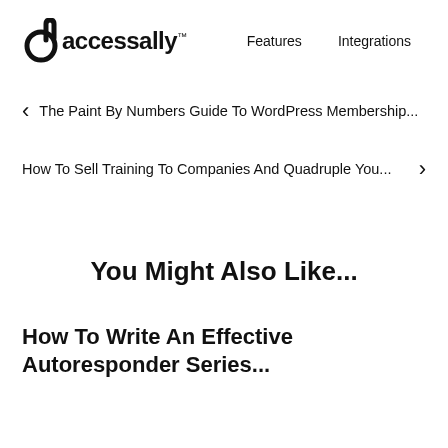accessally™  Features  Integrations  Pricing
< The Paint By Numbers Guide To WordPress Membership...
How To Sell Training To Companies And Quadruple You... >
You Might Also Like...
How To Write An Effective Autoresponder Series...